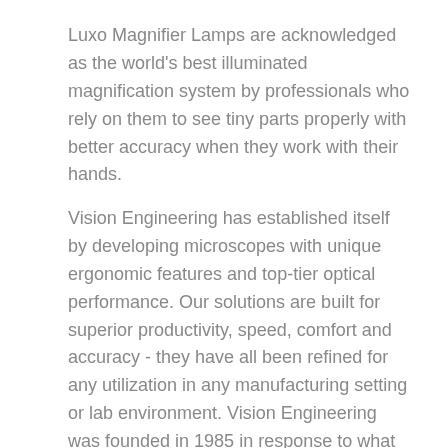Luxo Magnifier Lamps are acknowledged as the world's best illuminated magnification system by professionals who rely on them to see tiny parts properly with better accuracy when they work with their hands.
Vision Engineering has established itself by developing microscopes with unique ergonomic features and top-tier optical performance. Our solutions are built for superior productivity, speed, comfort and accuracy - they have all been refined for any utilization in any manufacturing setting or lab environment. Vision Engineering was founded in 1985 in response to what they saw as shortcomings in existing microscopes – driving them to create their own lineup of modern technology particularly customized for the needs of